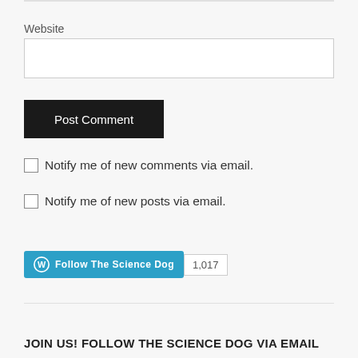Website
Post Comment
Notify me of new comments via email.
Notify me of new posts via email.
[Figure (infographic): Follow The Science Dog WordPress follow button with count badge showing 1,017 followers]
JOIN US! FOLLOW THE SCIENCE DOG VIA EMAIL